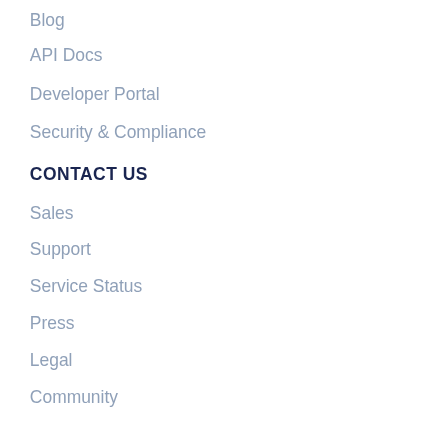Blog
API Docs
Developer Portal
Security & Compliance
CONTACT US
Sales
Support
Service Status
Press
Legal
Community